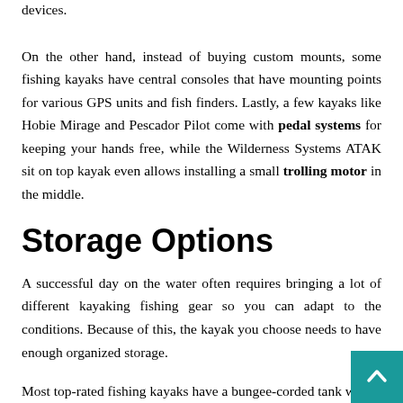devices.
On the other hand, instead of buying custom mounts, some fishing kayaks have central consoles that have mounting points for various GPS units and fish finders. Lastly, a few kayaks like Hobie Mirage and Pescador Pilot come with pedal systems for keeping your hands free, while the Wilderness Systems ATAK sit on top kayak even allows installing a small trolling motor in the middle.
Storage Options
A successful day on the water often requires bringing a lot of different kayaking fishing gear so you can adapt to the conditions. Because of this, the kayak you choose needs to have enough organized storage.
Most top-rated fishing kayaks have a bungee-corded tank well…